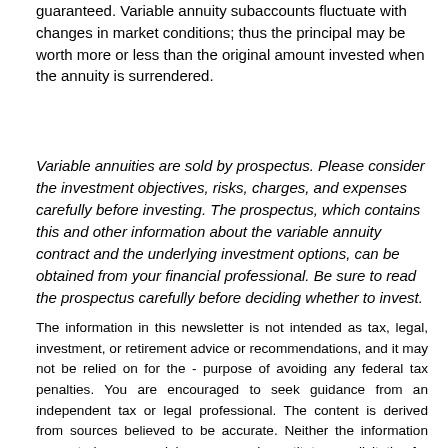guaranteed. Variable annuity subaccounts fluctuate with changes in market conditions; thus the principal may be worth more or less than the original amount invested when the annuity is surrendered.
Variable annuities are sold by prospectus. Please consider the investment objectives, risks, charges, and expenses carefully before investing. The prospectus, which contains this and other information about the variable annuity contract and the underlying investment options, can be obtained from your financial professional. Be sure to read the prospectus carefully before deciding whether to invest.
The information in this newsletter is not intended as tax, legal, investment, or retirement advice or recommendations, and it may not be relied on for the purpose of avoiding any federal tax penalties. You are encouraged to seek guidance from an independent tax or legal professional. The content is derived from sources believed to be accurate. Neither the information presented nor any opinion expressed constitutes a solicitation for the -